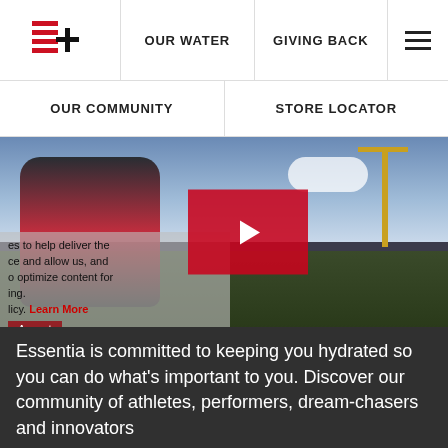[Figure (logo): Essentia Water logo — red stacked lines with a plus sign]
OUR WATER  GIVING BACK
OUR COMMUNITY  STORE LOCATOR
[Figure (screenshot): Athlete holding Essentia water bottle on football field, with a red play button overlay in the center — video thumbnail]
es to help deliver the ce and allow us, and o optimize content for ing. Essentia is committed to keeping you hydrated so you can do what's important to you. Discover our community of athletes, performers, dream-chasers and innovators
licy. Learn More
Accept